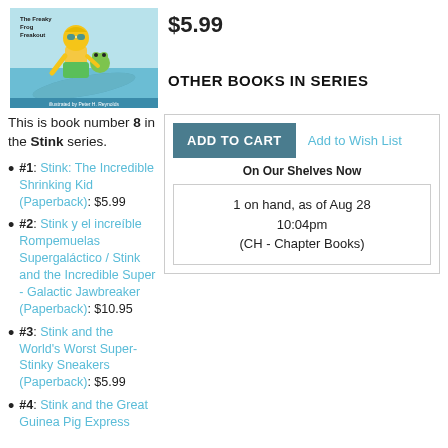[Figure (illustration): Book cover illustration of Stink: The Freaky Frog Freakout showing a cartoon boy on a surfboard with a frog, bright colors including yellow, green and blue teal water background]
$5.99
OTHER BOOKS IN SERIES
This is book number 8 in the Stink series.
#1: Stink: The Incredible Shrinking Kid (Paperback): $5.99
#2: Stink y el increíble Rompemuelas Supergaláctico / Stink and the Incredible Super - Galactic Jawbreaker (Paperback): $10.95
#3: Stink and the World's Worst Super-Stinky Sneakers (Paperback): $5.99
#4: Stink and the Great Guinea Pig Express
ADD TO CART
Add to Wish List
On Our Shelves Now
1 on hand, as of Aug 28 10:04pm (CH - Chapter Books)